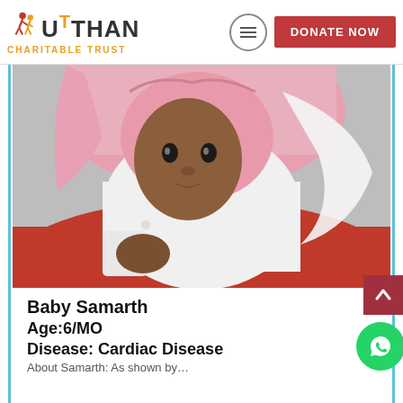UTTHAN CHARITABLE TRUST | DONATE NOW
[Figure (photo): Photo of Baby Samarth, an infant wearing a pink head covering and white outfit, wrapped in blankets]
Baby Samarth
Age:6/MO
Disease: Cardiac Disease